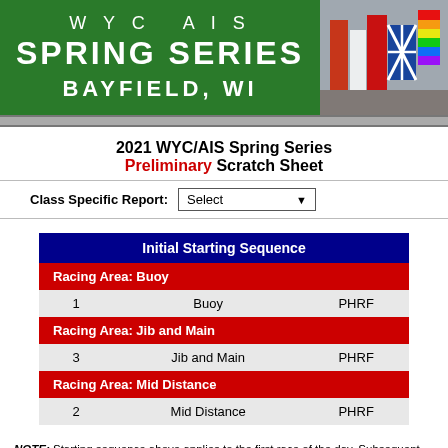[Figure (illustration): WYC AIS Spring Series Bayfield WI header banner with green background and photo of boats/flags on right]
2021 WYC/AIS Spring Series Preliminary Scratch Sheet
Class Specific Report: Select
| Initial Starting Sequence |
| --- |
| Racing Area: Buoy |
| 1 | Buoy | PHRF |
| Racing Area: Jib and Main |
| 3 | Jib and Main | PHRF |
| Racing Area: Mid Distance |
| 2 | Mid Distance | PHRF |
NOTE: Starting sequence above applies to the first race of the day. Subsequent races may be started in different order. Please check the NOR, SI and follow your RC on the water instructions.
| Bow | Sail Number | Yacht Name | Owner/Skipper | Yacht Club | Home Port | Yacht Type | Length | Rating |
| --- | --- | --- | --- | --- | --- | --- | --- | --- |